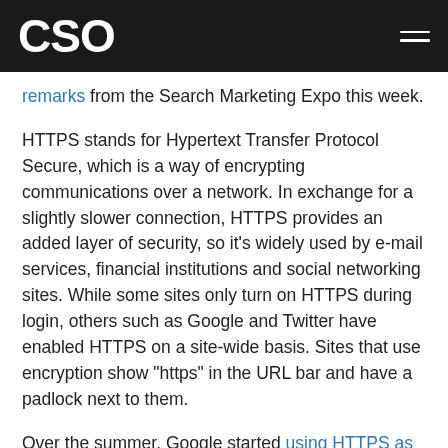CSO
remarks from the Search Marketing Expo this week.
HTTPS stands for Hypertext Transfer Protocol Secure, which is a way of encrypting communications over a network. In exchange for a slightly slower connection, HTTPS provides an added layer of security, so it's widely used by e-mail services, financial institutions and social networking sites. While some sites only turn on HTTPS during login, others such as Google and Twitter have enabled HTTPS on a site-wide basis. Sites that use encryption show "https" in the URL bar and have a padlock next to them.
Over the summer, Google started using HTTPS as a ranking signal, effectively penalizing sites that don't offer encryption. While the decision affects fewer than 1 percent of search queries for now, Google said it may strengthen this ranking